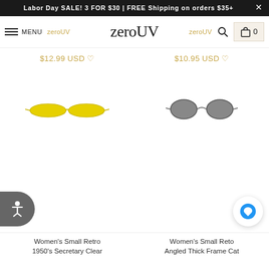Labor Day SALE! 3 FOR $30 | FREE Shipping on orders $35+
[Figure (screenshot): zeroUV navigation bar with menu icon, logo, search icon, and cart]
$12.99 USD ♡
$10.95 USD ♡
[Figure (photo): Yellow retro-style narrow sunglasses]
[Figure (photo): Small dark-lens cat eye sunglasses]
Women's Small Retro 1950's Secretary Clear
Women's Small Retro Angled Thick Frame Cat